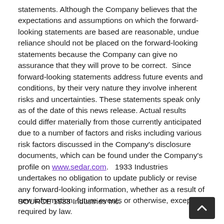statements. Although the Company believes that the expectations and assumptions on which the forward-looking statements are based are reasonable, undue reliance should not be placed on the forward-looking statements because the Company can give no assurance that they will prove to be correct.  Since forward-looking statements address future events and conditions, by their very nature they involve inherent risks and uncertainties. These statements speak only as of the date of this news release. Actual results could differ materially from those currently anticipated due to a number of factors and risks including various risk factors discussed in the Company's disclosure documents, which can be found under the Company's profile on www.sedar.com.   1933 Industries undertakes no obligation to update publicly or revise any forward-looking information, whether as a result of new information, future events or otherwise, except as required by law.
SOURCE 1933 Industries Inc.